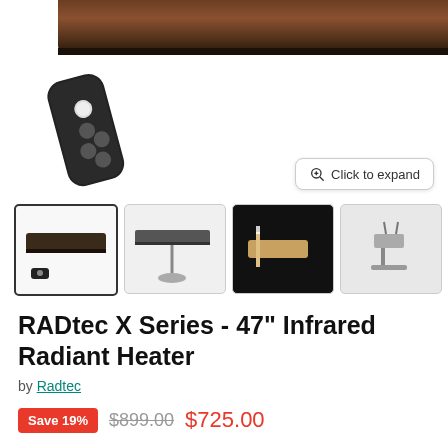[Figure (photo): Main product image area showing top portion of a RADtec infrared heater in dark bronze/black finish, with a black remote control in the lower left]
[Figure (photo): Row of 5 product thumbnail images: (1) heater with remote - selected/highlighted, (2) heater front view with stand, (3) heater mounting detail close-up, (4) mounting hardware/brackets, (5) heater mesh/grill close-up]
RADtec X Series - 47" Infrared Radiant Heater
by Radtec
Save 19%  $899.00  $725.00